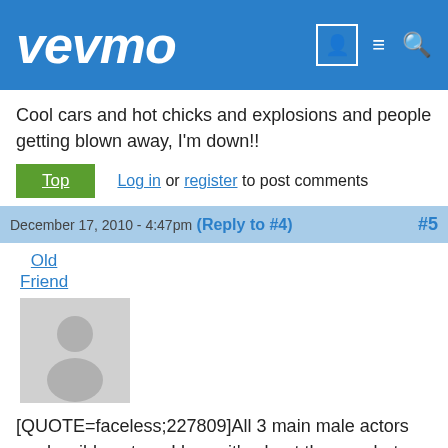vevmo
Cool cars and hot chicks and explosions and people getting blown away, I'm down!!
Top  Log in or register to post comments
December 17, 2010 - 4:47pm (Reply to #4) #5
Old Friend
[Figure (illustration): Default user avatar placeholder - grey silhouette of a person on light grey background]
[QUOTE=faceless;227809]All 3 main male actors are horrible actors. I know it's about the cars but those 3 are just awful. Very excited Han is back in the movie though. [/QUOTE] I disagree. As for Han I could care less. He doesn't add anything to the storyline. And why the hell is